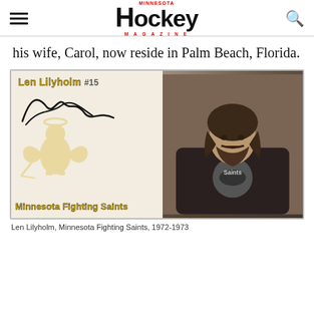Minnesota Hockey Magazine
his wife, Carol, now reside in Palm Beach, Florida.
[Figure (photo): Minnesota Fighting Saints hockey card for Len Lilyholm #15, featuring his autograph, the Saints mascot logo on the left half, and a black-and-white portrait photo on the right half of the player in his Saints jersey.]
Len Lilyholm, Minnesota Fighting Saints, 1972-1973